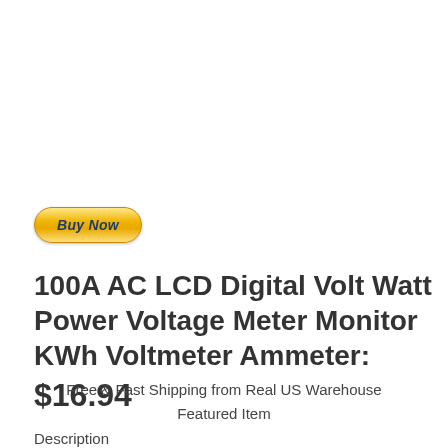[Figure (other): PayPal Buy Now button — yellow gradient pill-shaped button with italic bold blue text 'Buy Now']
100A AC LCD Digital Volt Watt Power Voltage Meter Monitor KWh Voltmeter Ammeter: $16.94
Free & Fast Shipping from Real US Warehouse
Featured Item
Description